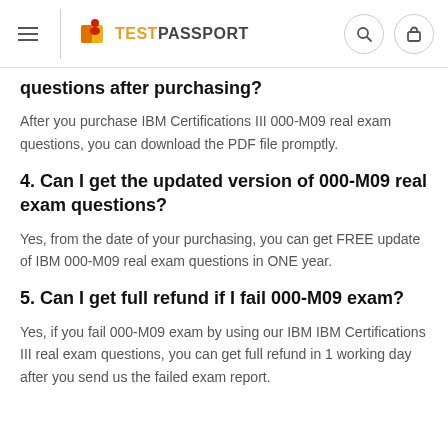TESTPASSPORT
questions after purchasing?
After you purchase IBM Certifications III 000-M09 real exam questions, you can download the PDF file promptly.
4. Can I get the updated version of 000-M09 real exam questions?
Yes, from the date of your purchasing, you can get FREE update of IBM 000-M09 real exam questions in ONE year.
5. Can I get full refund if I fail 000-M09 exam?
Yes, if you fail 000-M09 exam by using our IBM IBM Certifications III real exam questions, you can get full refund in 1 working day after you send us the failed exam report.